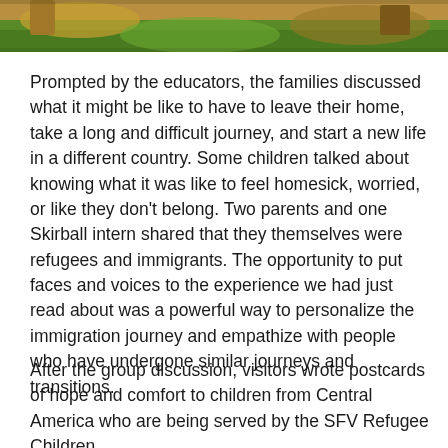[Figure (photo): Partial photo showing what appears to be green grass or foliage and brown/tan objects, cropped at top of page]
Prompted by the educators, the families discussed what it might be like to have to leave their home, take a long and difficult journey, and start a new life in a different country. Some children talked about knowing what it was like to feel homesick, worried, or like they don't belong. Two parents and one Skirball intern shared that they themselves were refugees and immigrants. The opportunity to put faces and voices to the experience we had just read about was a powerful way to personalize the immigration journey and empathize with people who have undergone similar journeys and transitions.
After the group discussion, visitors wrote postcards of hope and comfort to children from Central America who are being served by the SFV Refugee Children